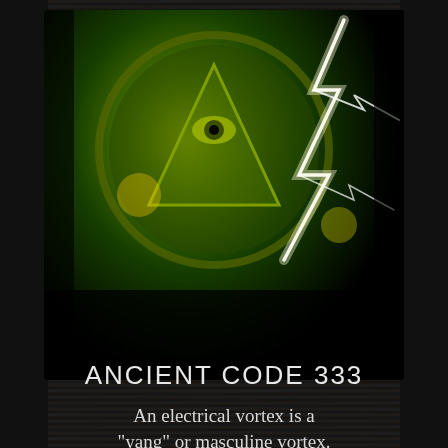[Figure (photo): A stylized photo of what appears to be a US dollar bill pyramid/eye symbol with intense green and yellow color grading and lightning bolt effects overlaid, against a dark background.]
ANCIENT CODE 333
An electrical vortex is a "yang" or masculine vortex. Electrical vortexes tend to